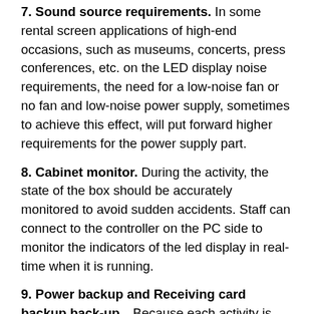7. Sound source requirements. In some rental screen applications of high-end occasions, such as museums, concerts, press conferences, etc. on the LED display noise requirements, the need for a low-noise fan or no fan and low-noise power supply, sometimes to achieve this effect, will put forward higher requirements for the power supply part.
8. Cabinet monitor. During the activity, the state of the box should be accurately monitored to avoid sudden accidents. Staff can connect to the controller on the PC side to monitor the indicators of the led display in real-time when it is running.
9. Power backup and Receiving card backup back-up。Because each activity is not possible only a box in the work, the whole indoor led rental display is composed of many parts, and electronic equipment more or less will have some electronic failure, so the backup power supply and backup dual